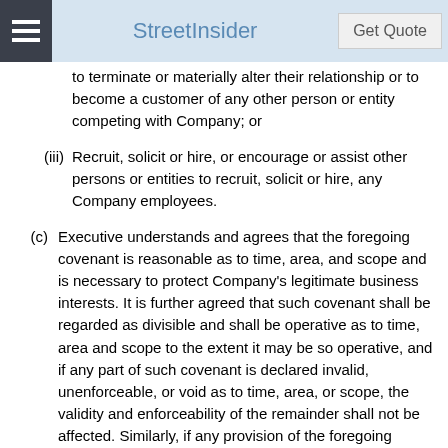StreetInsider
to terminate or materially alter their relationship or to become a customer of any other person or entity competing with Company; or
(iii) Recruit, solicit or hire, or encourage or assist other persons or entities to recruit, solicit or hire, any Company employees.
(c) Executive understands and agrees that the foregoing covenant is reasonable as to time, area, and scope and is necessary to protect Company's legitimate business interests. It is further agreed that such covenant shall be regarded as divisible and shall be operative as to time, area and scope to the extent it may be so operative, and if any part of such covenant is declared invalid, unenforceable, or void as to time, area, or scope, the validity and enforceability of the remainder shall not be affected. Similarly, if any provision of the foregoing covenant is found to be overly broad with respect to time, area or scope, the parties authorize the appropriate tribunal to reform such provision, in accordance with the laws of such tribunal, to render